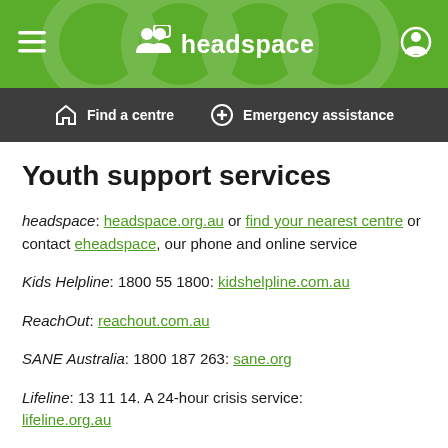headspace
Find a centre  Emergency assistance
Youth support services
headspace: headspace.org.au or find your nearest centre or contact eheadspace, our phone and online service
Kids Helpline: 1800 55 1800: kidshelpline.com.au
ReachOut: reachout.com.au
SANE Australia: 1800 187 263: sane.org
Lifeline: 13 11 14. A 24-hour crisis service: lifeline.org.au